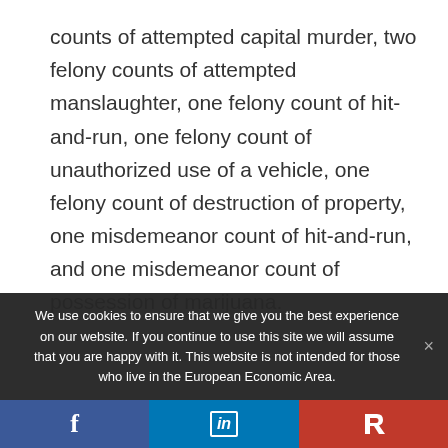counts of attempted capital murder, two felony counts of attempted manslaughter, one felony count of hit-and-run, one felony count of unauthorized use of a vehicle, one felony count of destruction of property, one misdemeanor count of hit-and-run, and one misdemeanor count of possession of marijuana.
[Figure (screenshot): Newport News Sheriff's Police Beat banner with a photo of a man on the left and a photo of surveillance camera in trees on the right, yellow background.]
We use cookies to ensure that we give you the best experience on our website. If you continue to use this site we will assume that you are happy with it. This website is not intended for those who live in the European Economic Area.
[Figure (infographic): Social media sharing bar with Facebook, LinkedIn, and Parler buttons.]